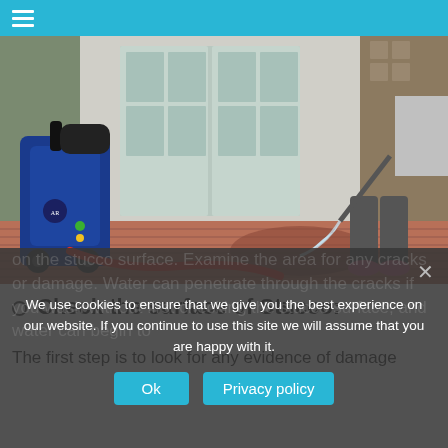≡
[Figure (photo): A person using a blue pressure washer on a wooden deck outside a house with french doors and stone pillars.]
Check the surface of Stucco:
The first step is to look for any evidence of damage on the stucco surface. Examine the area for any cracks or damage. Water can penetrate through the cracks if you wash without first checking the stucco surface, and water can begin to
We use cookies to ensure that we give you the best experience on our website. If you continue to use this site we will assume that you are happy with it.